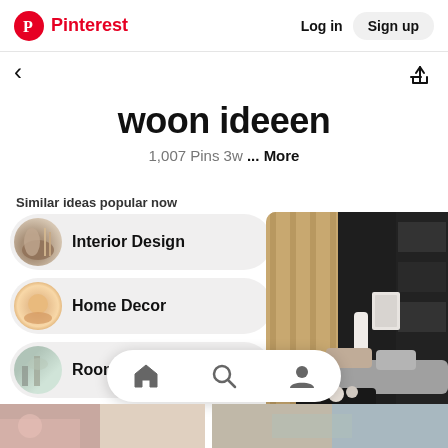Pinterest  Log in  Sign up
woon ideeen
1,007 Pins 3w ... More
Similar ideas popular now
Interior Design
Home Decor
Room Dec
[Figure (photo): Living room interior with dark wall, wood panel, bookshelf, grey sofa, and coffee table]
[Figure (screenshot): Pinterest mobile bottom navigation bar with home, search, and profile icons]
[Figure (photo): Bottom strip images partially visible]